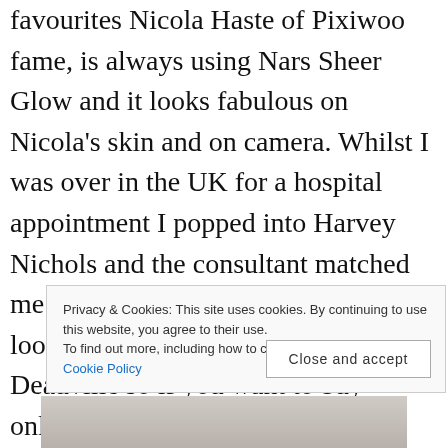favourites Nicola Haste of Pixiwoo fame, is always using Nars Sheer Glow and it looks fabulous on Nicola's skin and on camera. Whilst I was over in the UK for a hospital appointment I popped into Harvey Nichols and the consultant matched me up to deauville: incidentally i had looked online and matched myself to Deauville so if you want to buy online you could google swatches without travelling to Belfast or Dublin. The UK
Privacy & Cookies: This site uses cookies. By continuing to use this website, you agree to their use. To find out more, including how to control cookies, see here: Cookie Policy
[Figure (photo): Partial bottom image, light grey/beige texture, possibly fabric or surface.]